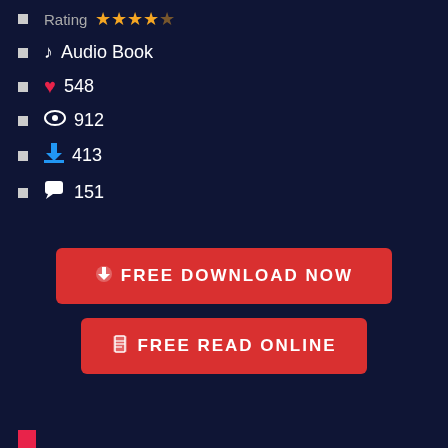Rating ★★★★☆
♪ Audio Book
❤ 548
👁 912
⬇ 413
💬 151
[Figure (other): Red button: FREE DOWNLOAD NOW with download icon]
[Figure (other): Red button: FREE READ ONLINE with book icon]